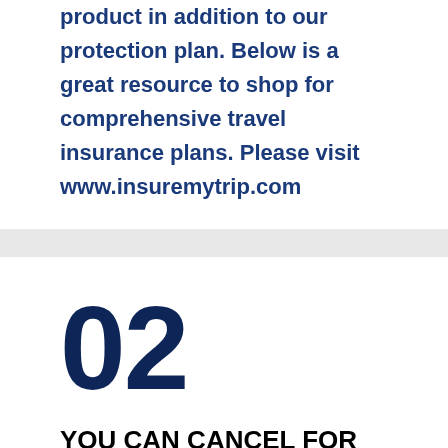product in addition to our protection plan. Below is a great resource to shop for comprehensive travel insurance plans. Please visit www.insuremytrip.com
02
YOU CAN CANCEL FOR ANY REASON
To be covered under the TOUR PROTECT 75 benefit, a traveler must cancel their tour in its entirety at least 72 HOURS before the scheduled departure time of the tour.